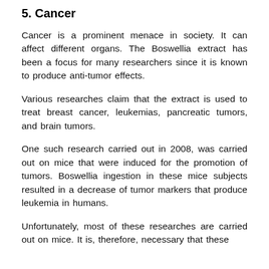5. Cancer
Cancer is a prominent menace in society. It can affect different organs. The Boswellia extract has been a focus for many researchers since it is known to produce anti-tumor effects.
Various researches claim that the extract is used to treat breast cancer, leukemias, pancreatic tumors, and brain tumors.
One such research carried out in 2008, was carried out on mice that were induced for the promotion of tumors. Boswellia ingestion in these mice subjects resulted in a decrease of tumor markers that produce leukemia in humans.
Unfortunately, most of these researches are carried out on mice. It is, therefore, necessary that these